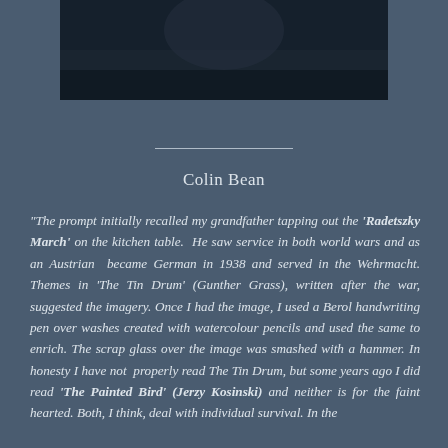[Figure (photo): Dark photograph at top of page, partially visible, showing a dark scene with a face or figure barely visible]
Colin Bean
“The prompt initially recalled my grandfather tapping out the ‘Radetszky March’ on the kitchen table. He saw service in both world wars and as an Austrian became German in 1938 and served in the Wehrmacht. Themes in ‘The Tin Drum’ (Gunther Grass), written after the war, suggested the imagery. Once I had the image, I used a Berol handwriting pen over washes created with watercolour pencils and used the same to enrich. The scrap glass over the image was smashed with a hammer. In honesty I have not properly read The Tin Drum, but some years ago I did read ‘The Painted Bird’ (Jerzy Kosinski) and neither is for the faint hearted. Both, I think, deal with individual survival. In the